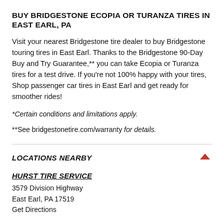BUY BRIDGESTONE ECOPIA OR TURANZA TIRES IN EAST EARL, PA
Visit your nearest Bridgestone tire dealer to buy Bridgestone touring tires in East Earl. Thanks to the Bridgestone 90-Day Buy and Try Guarantee,** you can take Ecopia or Turanza tires for a test drive. If you're not 100% happy with your tires, Shop passenger car tires in East Earl and get ready for smoother rides!
*Certain conditions and limitations apply.
**See bridgestonetire.com/warranty for details.
LOCATIONS NEARBY
HURST TIRE SERVICE
3579 Division Highway
East Earl, PA 17519
Get Directions